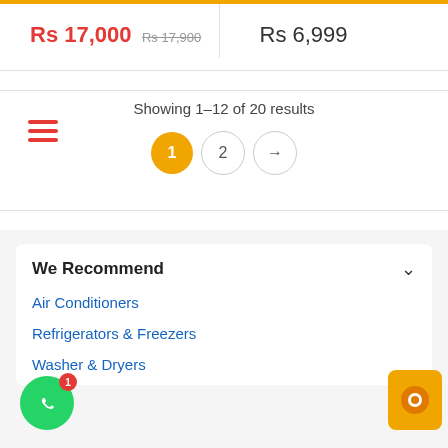Rs 17,000 Rs 17,900
Rs 6,999
Showing 1–12 of 20 results
1 2 →
We Recommend
Air Conditioners
Refrigerators & Freezers
Washer & Dryers